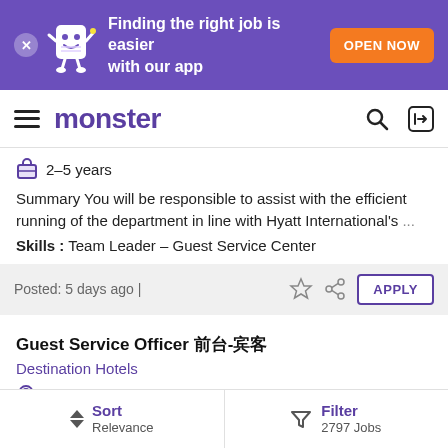[Figure (screenshot): Purple promotional banner with mascot character, text 'Finding the right job is easier with our app', close X button, and orange OPEN NOW button]
monster
2–5 years
Summary You will be responsible to assist with the efficient running of the department in line with Hyatt International's ...
Skills :  Team Leader – Guest Service Center
Posted: 5 days ago |
Guest Service Officer 前台-宾客
Destination Hotels
China , Fujian
Not Specified
Sort Relevance  Filter 2797 Jobs